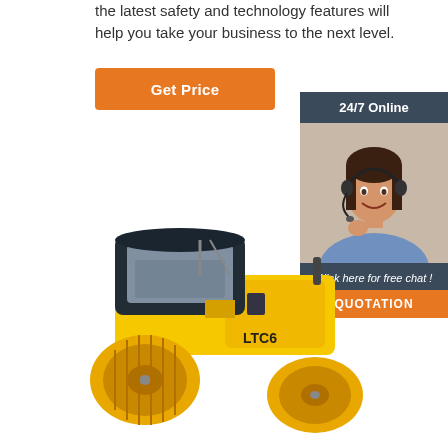the latest safety and technology features will help you take your business to the next level.
Get Price
[Figure (photo): Customer service representative woman with headset smiling, 24/7 Online support banner with Click here for free chat and QUOTATION button]
[Figure (photo): Yellow LTC6 road roller / compactor construction machine]